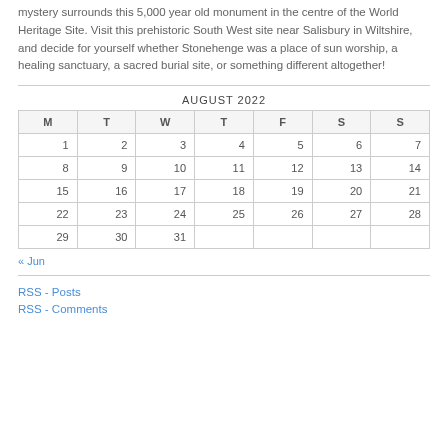mystery surrounds this 5,000 year old monument in the centre of the World Heritage Site. Visit this prehistoric South West site near Salisbury in Wiltshire, and decide for yourself whether Stonehenge was a place of sun worship, a healing sanctuary, a sacred burial site, or something different altogether!
| M | T | W | T | F | S | S |
| --- | --- | --- | --- | --- | --- | --- |
| 1 | 2 | 3 | 4 | 5 | 6 | 7 |
| 8 | 9 | 10 | 11 | 12 | 13 | 14 |
| 15 | 16 | 17 | 18 | 19 | 20 | 21 |
| 22 | 23 | 24 | 25 | 26 | 27 | 28 |
| 29 | 30 | 31 |  |  |  |  |
« Jun
RSS - Posts
RSS - Comments